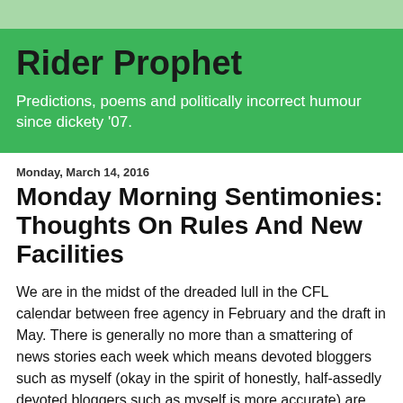Rider Prophet
Predictions, poems and politically incorrect humour since dickety '07.
Monday, March 14, 2016
Monday Morning Sentimonies: Thoughts On Rules And New Facilities
We are in the midst of the dreaded lull in the CFL calendar between free agency in February and the draft in May. There is generally no more than a smattering of news stories each week which means devoted bloggers such as myself (okay in the spirit of honestly, half-assedly devoted bloggers such as myself is more accurate) are left to try cobbled these bits of CFL news into a somewhat coherent collection of thoughts.